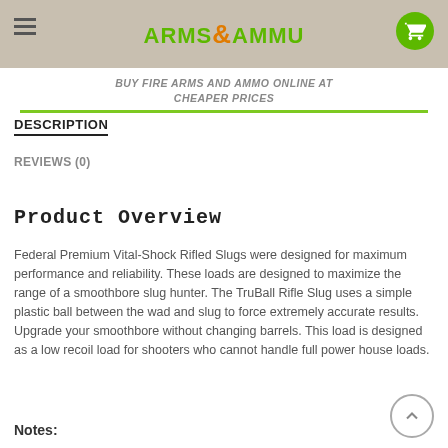ARMS & AMMU
BUY FIRE ARMS AND AMMO ONLINE AT CHEAPER PRICES
DESCRIPTION
REVIEWS (0)
Product Overview
Federal Premium Vital-Shock Rifled Slugs were designed for maximum performance and reliability. These loads are designed to maximize the range of a smoothbore slug hunter. The TruBall Rifle Slug uses a simple plastic ball between the wad and slug to force extremely accurate results. Upgrade your smoothbore without changing barrels. This load is designed as a low recoil load for shooters who cannot handle full power house loads.
Notes: